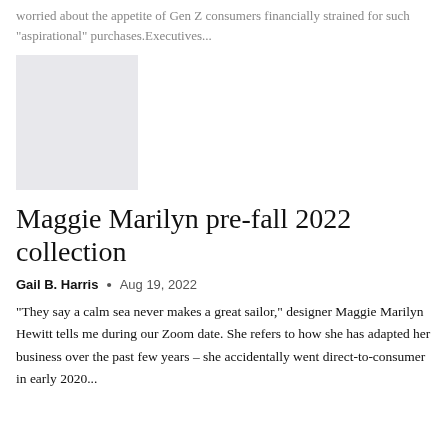worried about the appetite of Gen Z consumers financially strained for such "aspirational" purchases.Executives...
[Figure (photo): Gray placeholder image for article thumbnail]
Maggie Marilyn pre-fall 2022 collection
Gail B. Harris  •  Aug 19, 2022
"They say a calm sea never makes a great sailor," designer Maggie Marilyn Hewitt tells me during our Zoom date. She refers to how she has adapted her business over the past few years – she accidentally went direct-to-consumer in early 2020...